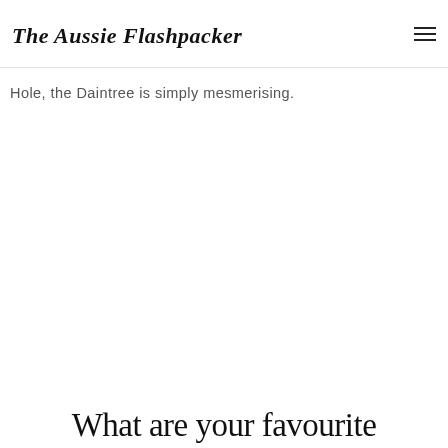The Aussie Flashpacker
Hole, the Daintree is simply mesmerising.
What are your favourite